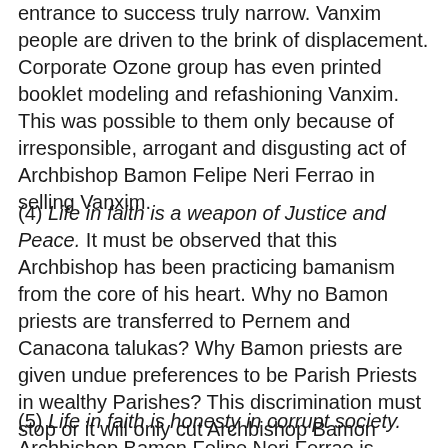entrance to success truly narrow. Vanxim people are driven to the brink of displacement. Corporate Ozone group has even printed booklet modeling and refashioning Vanxim. This was possible to them only because of irresponsible, arrogant and disgusting act of Archbishop Bamon Felipe Neri Ferrao in selling Vanxim.
(4) Life in faith is a weapon of Justice and Peace. It must be observed that this Archbishop has been practicing bamanism from the core of his heart. Why no Bamon priests are transferred to Pernem and Canacona talukas? Why Bamon priests are given undue preferences to be Parish Priests in wealthy Parishes? This discrimination must stop or it will only cut Archbishop Bamon Felipe Neri Ferrao like a sword.
(5) Life in faith is honesty in corrupt society. Archbishop Bamon Felipe Neri Ferrao is sitting with